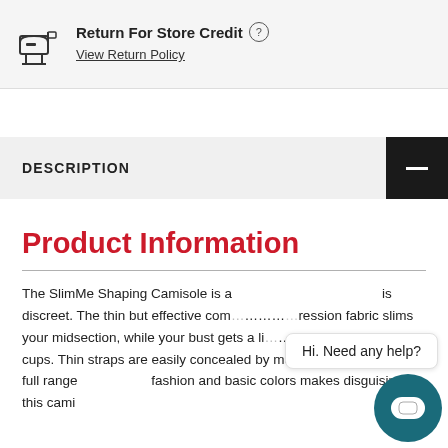Return For Store Credit ⓘ
View Return Policy
DESCRIPTION
Product Information
The SlimMe Shaping Camisole is a is discreet. The thin but effective compression fabric slims your midsection, while your bust gets a light lift from open-size cups. Thin straps are easily concealed by most tops, but MeMoi's full range fashion and basic colors makes disguising this cami